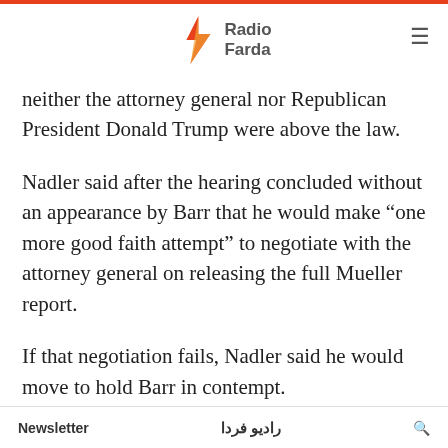Radio Farda
neither the attorney general nor Republican President Donald Trump were above the law.
Nadler said after the hearing concluded without an appearance by Barr that he would make “one more good faith attempt” to negotiate with the attorney general on releasing the full Mueller report.
If that negotiation fails, Nadler said he would move to hold Barr in contempt.
Barr said he objected to the format of the hearing after Democrats decided to let staff attorneys conduct a round of questioning after lawmakers
Newsletter  رادیو فردا  🔍